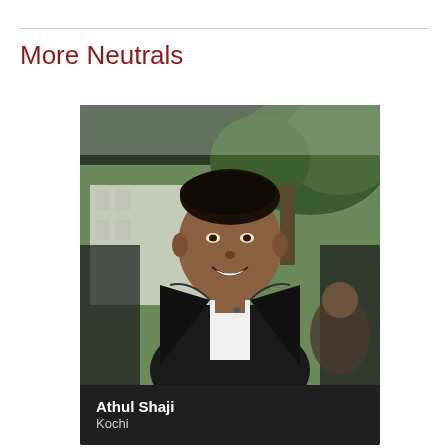More Neutrals
[Figure (photo): Photo of a young man named Athul Shaji, smiling, wearing a black graduation gown with white collared shirt, trees and buildings in background]
Athul Shaji
Kochi